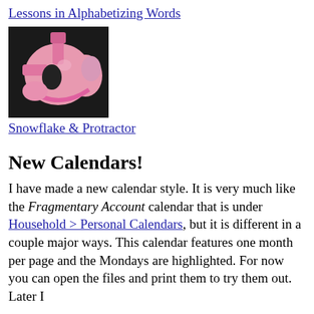Lessons in Alphabetizing Words
[Figure (photo): Pink plastic snowflake and protractor craft object on dark background]
Snowflake & Protractor
New Calendars!
I have made a new calendar style. It is very much like the Fragmentary Account calendar that is under Household > Personal Calendars, but it is different in a couple major ways. This calendar features one month per page and the Mondays are highlighted. For now you can open the files and print them to try them out. Later I